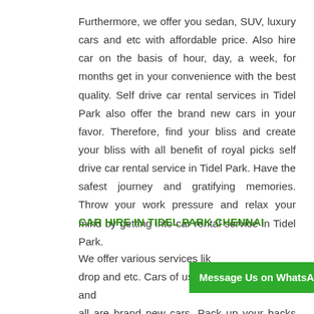Furthermore, we offer you sedan, SUV, luxury cars and etc with affordable price. Also hire car on the basis of hour, day, a week, for months get in your convenience with the best quality. Self drive car rental services in Tidel Park also offer the brand new cars in your favor. Therefore, find your bliss and create your bliss with all benefit of royal picks self drive car rental service in Tidel Park. Have the safest journey and gratifying memories. Throw your work pressure and relax your mind by getting into car rental service in Tidel Park.
CAR HIRE IN TIDEL PARK CHENNAI
We offer various services lik... drop and etc. Cars of us were maintained well and all are brand new cars. Pack up your backs and bit
[Figure (other): Green WhatsApp message button overlay with text 'Message Us on WhatsApp']